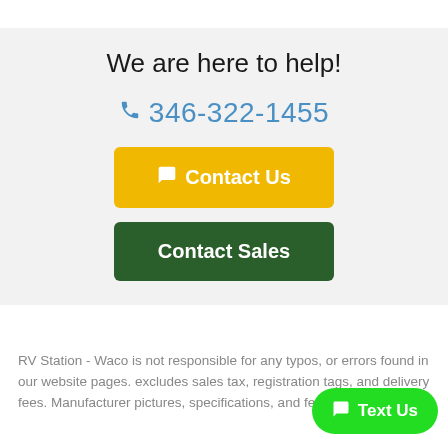We are here to help!
346-322-1455
Contact Us
Contact Sales
RV Station - Waco is not responsible for any typos, or errors found in our website pages. excludes sales tax, registration tags, and delivery fees. Manufacturer pictures, specifications, and features may be
Text Us